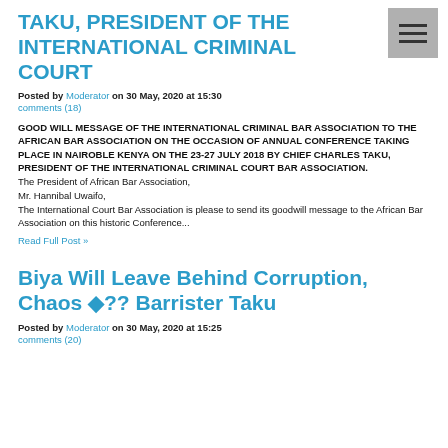TAKU, PRESIDENT OF THE INTERNATIONAL CRIMINAL COURT
Posted by Moderator on 30 May, 2020 at 15:30
comments (18)
GOOD WILL MESSAGE OF THE INTERNATIONAL CRIMINAL BAR ASSOCIATION TO THE AFRICAN BAR ASSOCIATION ON THE OCCASION OF ANNUAL CONFERENCE TAKING PLACE IN NAIROBLE KENYA ON THE 23-27 JULY 2018 BY CHIEF CHARLES TAKU, PRESIDENT OF THE INTERNATIONAL CRIMINAL COURT BAR ASSOCIATION.
The President of African Bar Association,
Mr. Hannibal Uwaifo,
The International Court Bar Association is please to send its goodwill message to the African Bar Association on this historic Conference...
Read Full Post »
Biya Will Leave Behind Corruption, Chaos ◆?? Barrister Taku
Posted by Moderator on 30 May, 2020 at 15:25
comments (20)